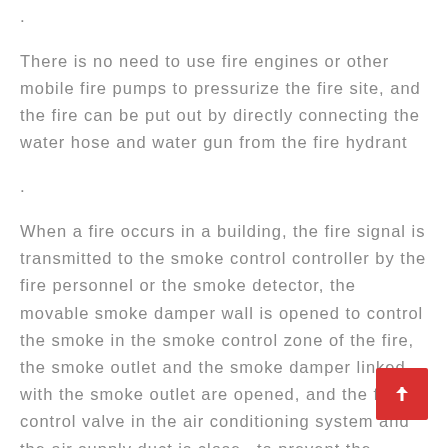.
There is no need to use fire engines or other mobile fire pumps to pressurize the fire site, and the fire can be put out by directly connecting the water hose and water gun from the fire hydrant
.
When a fire occurs in a building, the fire signal is transmitted to the smoke control controller by the fire personnel or the smoke detector, the movable smoke damper wall is opened to control the smoke in the smoke control zone of the fire, the smoke outlet and the smoke damper linked with the smoke outlet are opened, and the fire control valve in the air conditioning system and the air supply duct is closed to prevent the smoke from escaping from the air